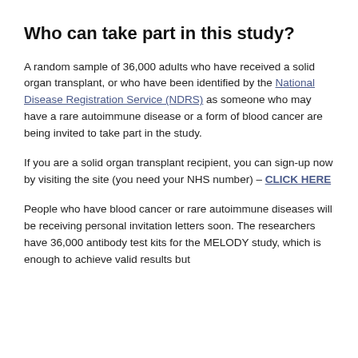Who can take part in this study?
A random sample of 36,000 adults who have received a solid organ transplant, or who have been identified by the National Disease Registration Service (NDRS) as someone who may have a rare autoimmune disease or a form of blood cancer are being invited to take part in the study.
If you are a solid organ transplant recipient, you can sign-up now by visiting the site (you need your NHS number) – CLICK HERE
People who have blood cancer or rare autoimmune diseases will be receiving personal invitation letters soon. The researchers have 36,000 antibody test kits for the MELODY study, which is enough to achieve valid results but